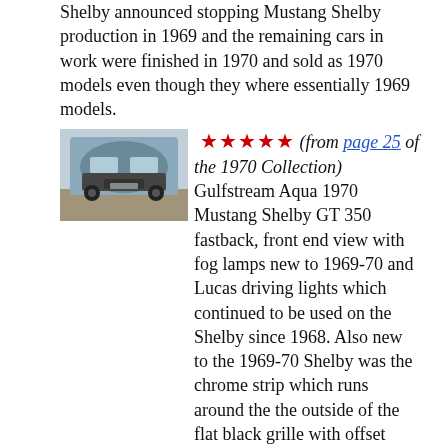Shelby announced stopping Mustang Shelby production in 1969 and the remaining cars in work were finished in 1970 and sold as 1970 models even though they where essentially 1969 models.
[Figure (photo): Front view of a Gulfstream Aqua 1970 Mustang Shelby GT 350 fastback]
★★★★★ (from page 25 of the 1970 Collection) Gulfstream Aqua 1970 Mustang Shelby GT 350 fastback, front end view with fog lamps new to 1969-70 and Lucas driving lights which continued to be used on the Shelby since 1968. Also new to the 1969-70 Shelby was the chrome strip which runs around the the outside of the flat black grille with offset cobra Shelby emblem. These black hood stripes differentiated the 1970 Shelbys from the 1969 models.
[Figure (photo): Side view of a Gulfstream Aqua 1970 Mustang Shelby]